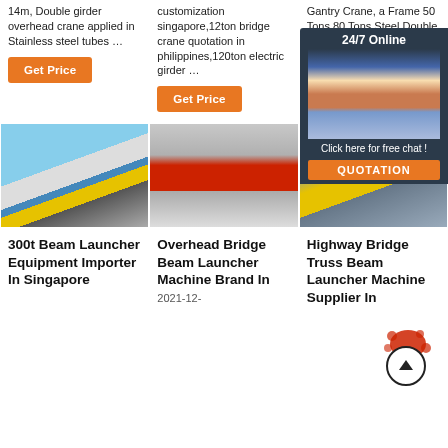14m, Double girder overhead crane applied in Stainless steel tubes …
customization singapore,12ton bridge crane quotation in philippines,120ton electric girder …
Gantry Crane, a Frame 50 Tons 80 Tons Steel Double Gantry Crane Rmg Outdoor Gantry Crane, Cl…
[Figure (other): Orange/yellow overhead crane on blue steel structure outdoors]
[Figure (other): Red overhead bridge crane inside industrial building]
[Figure (other): Yellow overhead crane inside steel structure factory]
[Figure (other): 24/7 Online chat agent overlay with woman in headset]
300t Beam Launcher Equipment Importer In Singapore
Overhead Bridge Beam Launcher Machine Brand In
2021-12-
Highway Bridge Truss Beam Launcher Machine Supplier In